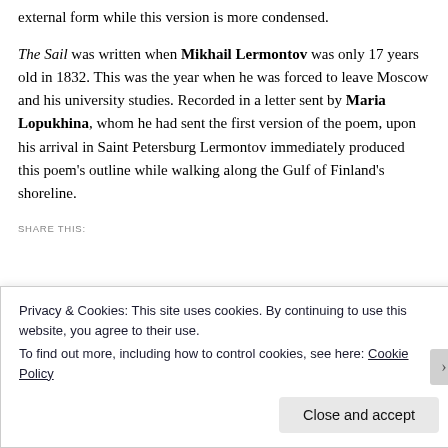external form while this version is more condensed.
The Sail was written when Mikhail Lermontov was only 17 years old in 1832. This was the year when he was forced to leave Moscow and his university studies. Recorded in a letter sent by Maria Lopukhina, whom he had sent the first version of the poem, upon his arrival in Saint Petersburg Lermontov immediately produced this poem's outline while walking along the Gulf of Finland's shoreline.
SHARE THIS:
Privacy & Cookies: This site uses cookies. By continuing to use this website, you agree to their use.
To find out more, including how to control cookies, see here: Cookie Policy